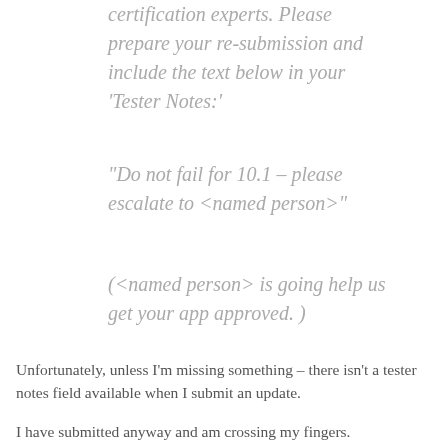certification experts. Please prepare your re-submission and include the text below in your 'Tester Notes:'
“Do not fail for 10.1 – please escalate to <named person>”
(<named person> is going help us get your app approved. )
Unfortunately, unless I’m missing something – there isn’t a tester notes field available when I submit an update.
I have submitted anyway and am crossing my fingers.